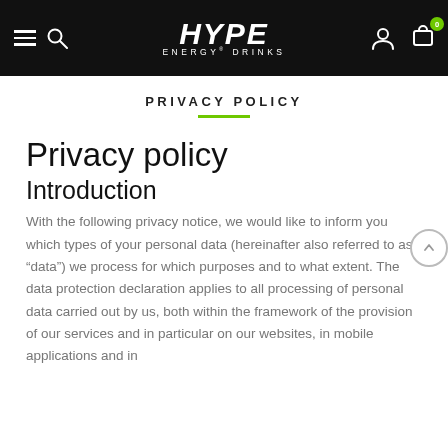HYPE ENERGY DRINKS — navigation header with hamburger, search, logo, user, and cart icons
PRIVACY POLICY
Privacy policy
Introduction
With the following privacy notice, we would like to inform you which types of your personal data (hereinafter also referred to as “data”) we process for which purposes and to what extent. The data protection declaration applies to all processing of personal data carried out by us, both within the framework of the provision of our services and in particular on our websites, in mobile applications and in